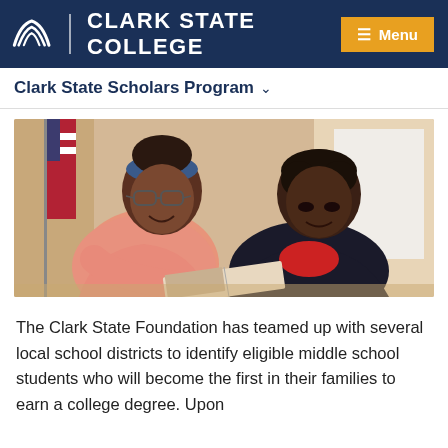Clark State College
Clark State Scholars Program
[Figure (photo): Two young students, a smiling female student wearing glasses and a pink jacket with a blue headband, and a male student in a dark jacket and red shirt, both looking at a book or brochure together. An American flag is visible in the background.]
The Clark State Foundation has teamed up with several local school districts to identify eligible middle school students who will become the first in their families to earn a college degree. Upon